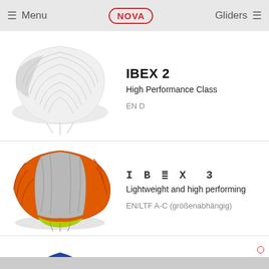Menu   NOVA   Gliders
[Figure (illustration): White/light grey paraglider wing viewed from below-front, showing ribbed structure]
IBEX 2
High Performance Class
EN D
[Figure (illustration): Orange and silver paraglider wing with lime green trim, viewed from below-front]
IBEX 3
Lightweight and high performing
EN/LTF A-C (größenabhängig)
[Figure (illustration): Red/pink and dark blue paraglider wing viewed from below-front at angle]
IBEX 4
The performance featherweight
EN/LTF A